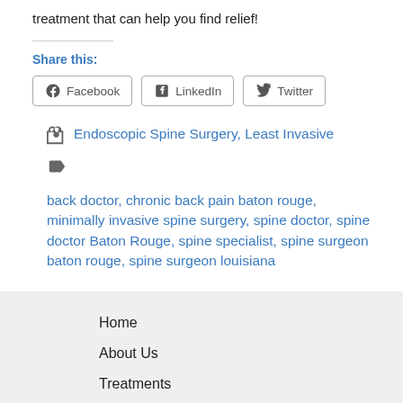treatment that can help you find relief!
Share this:
[Figure (other): Social share buttons: Facebook, LinkedIn, Twitter]
Endoscopic Spine Surgery, Least Invasive
back doctor, chronic back pain baton rouge, minimally invasive spine surgery, spine doctor, spine doctor Baton Rouge, spine specialist, spine surgeon baton rouge, spine surgeon louisiana
Home
About Us
Treatments